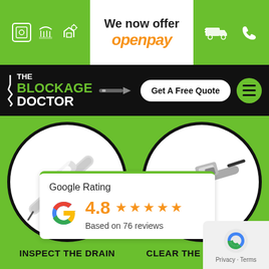[Figure (screenshot): Top navigation bar of 'The Blockage Doctor' website. Green top bar with plumbing icons, OpenPay offer notice, delivery truck and phone icons. Black nav bar with logo, 'Get A Free Quote' button and hamburger menu. Green background showing two circular images of drain inspection and blockage clearing tools, with labels 'INSPECT THE DRAIN' and 'CLEAR THE BLOCKAGE'. Google Rating card showing 4.8 stars based on 76 reviews. reCAPTCHA badge bottom right.]